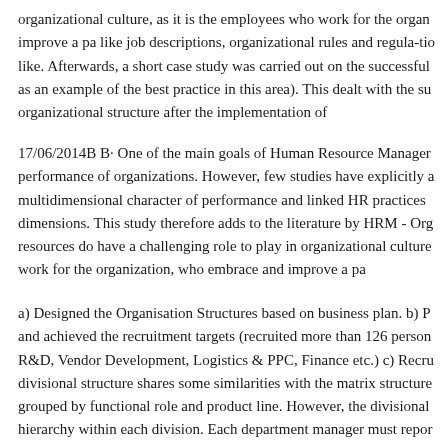organizational culture, as it is the employees who work for the organ improve a pa like job descriptions, organizational rules and regula-tio like. Afterwards, a short case study was carried out on the successful as an example of the best practice in this area). This dealt with the su organizational structure after the implementation of
17/06/2014B B· One of the main goals of Human Resource Manager performance of organizations. However, few studies have explicitly a multidimensional character of performance and linked HR practices dimensions. This study therefore adds to the literature by HRM - Org resources do have a challenging role to play in organizational culture work for the organization, who embrace and improve a pa
a) Designed the Organisation Structures based on business plan. b) P and achieved the recruitment targets (recruited more than 126 person R&D, Vendor Development, Logistics & PPC, Finance etc.) c) Recru divisional structure shares some similarities with the matrix structure grouped by functional role and product line. However, the divisional hierarchy within each division. Each department manager must repor